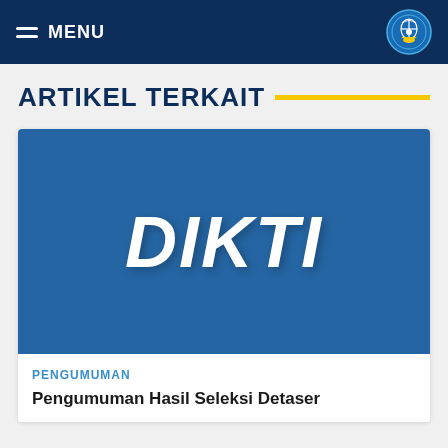MENU
ARTIKEL TERKAIT
[Figure (logo): DIKTI logo placeholder image — blue rectangle with white bold italic text 'DIKTI']
PENGUMUMAN
Pengumuman Hasil Seleksi Detaser